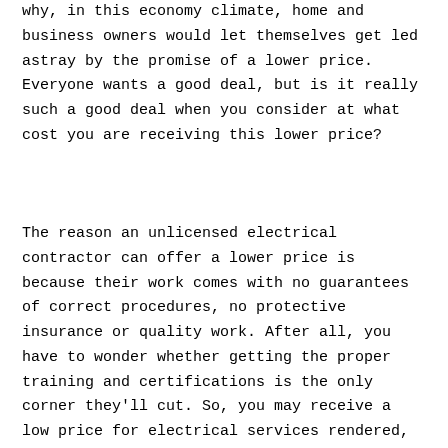why, in this economy climate, home and business owners would let themselves get led astray by the promise of a lower price. Everyone wants a good deal, but is it really such a good deal when you consider at what cost you are receiving this lower price?
The reason an unlicensed electrical contractor can offer a lower price is because their work comes with no guarantees of correct procedures, no protective insurance or quality work. After all, you have to wonder whether getting the proper training and certifications is the only corner they'll cut. So, you may receive a low price for electrical services rendered, but what good is the money you saved if it's all going to go to expensive repairs when the electrical work